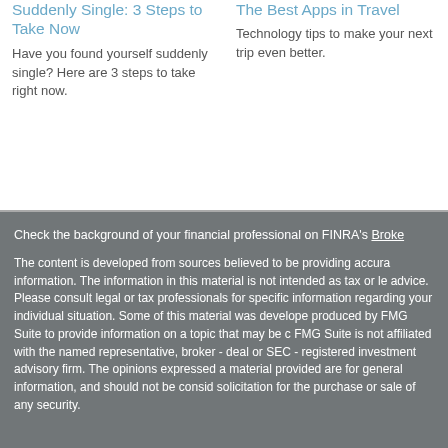Suddenly Single: 3 Steps to Take Now
Have you found yourself suddenly single? Here are 3 steps to take right now.
The Best Apps in Travel
Technology tips to make your next trip even better.
Check the background of your financial professional on FINRA's Broke[rCheck]

The content is developed from sources believed to be providing accura[te] information. The information in this material is not intended as tax or le[gal] advice. Please consult legal or tax professionals for specific information regarding your individual situation. Some of this material was develope[d and] produced by FMG Suite to provide information on a topic that may be o[f interest.] FMG Suite is not affiliated with the named representative, broker - dea[ler,] or SEC - registered investment advisory firm. The opinions expressed a[nd] material provided are for general information, and should not be consid[ered a] solicitation for the purchase or sale of any security.